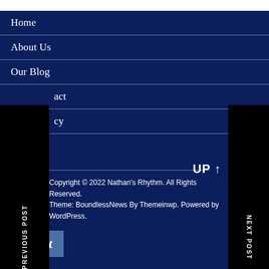Home
About Us
Our Blog
...act
...cy
PREVIOUS POST
NEXT POST
UP ↑
Copyright © 2022 Nathan's Rhythm. All Rights Reserved. Theme: BoundlessNews By Themeinwp. Powered by WordPress.